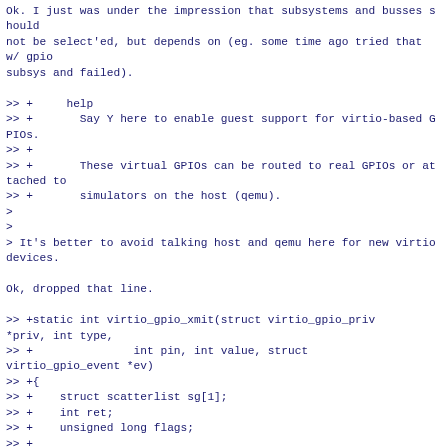Ok. I just was under the impression that subsystems and busses should
not be select'ed, but depends on (eg. some time ago tried that w/ gpio
subsys and failed).

>> +     help
>> +       Say Y here to enable guest support for virtio-based GPIOs.
>> +
>> +       These virtual GPIOs can be routed to real GPIOs or attached to
>> +       simulators on the host (qemu).
>
>
> It's better to avoid talking host and qemu here for new virtio devices.

Ok, dropped that line.

>> +static int virtio_gpio_xmit(struct virtio_gpio_priv *priv, int type,
>> +               int pin, int value, struct virtio_gpio_event *ev)
>> +{
>> +    struct scatterlist sg[1];
>> +    int ret;
>> +    unsigned long flags;
>> +
>> +    WARN_ON(!ev);